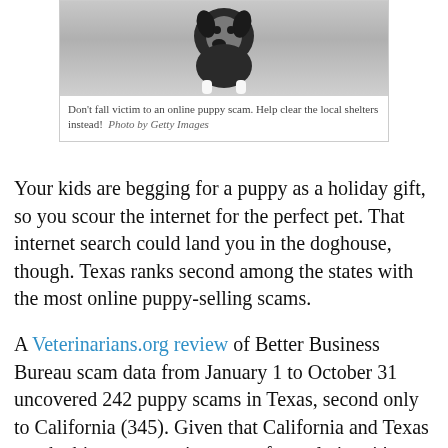[Figure (photo): A close-up photo of a dog (puppy), black and white coloring, looking down. Shown partially cropped at the top.]
Don't fall victim to an online puppy scam. Help clear the local shelters instead!  Photo by Getty Images
Your kids are begging for a puppy as a holiday gift, so you scour the internet for the perfect pet. That internet search could land you in the doghouse, though. Texas ranks second among the states with the most online puppy-selling scams.
A Veterinarians.org review of Better Business Bureau scam data from January 1 to October 31 uncovered 242 puppy scams in Texas, second only to California (345). Given that California and Texas are the biggest states in terms of population, it's not surprising that these two states top the